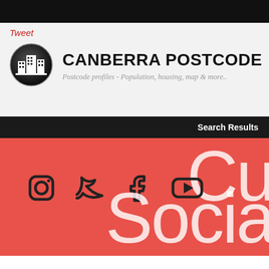Tweet
CANBERRA POSTCODE
Postcode profiles - Population, housing, map & more..
Search Results
[Figure (illustration): Red social media banner with social icons (Instagram, Twitter, Facebook, YouTube) and large white text showing 'Cu' and 'Socia' (partially visible)]